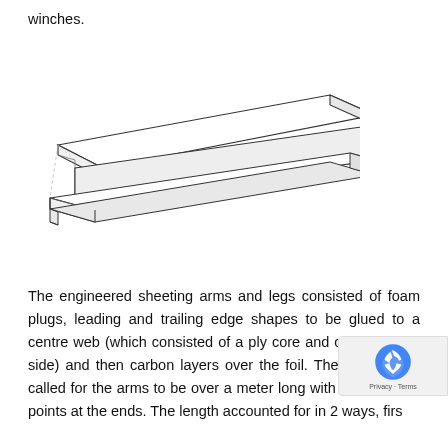winches.
[Figure (engineering-diagram): Technical line drawing of an extruded profile or structural section, showing a long trapezoidal/T-shaped cross-section extrusion viewed in perspective, with flanges and web visible, drawn in thin black lines on white background.]
The engineered sheeting arms and legs consisted of foam plugs, leading and trailing edge shapes to be glued to a centre web (which consisted of a ply core and carbon either side) and then carbon layers over the foil. The design also called for the arms to be over a meter long with the sheeting points at the ends. The length accounted for in 2 ways, firs...